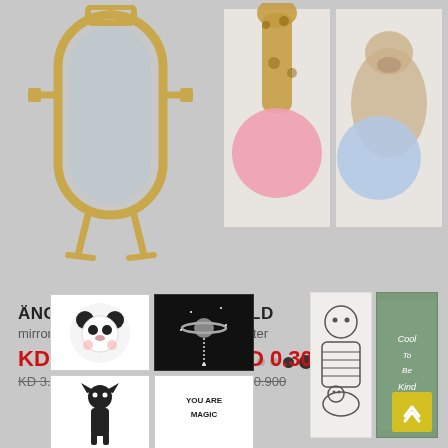[Figure (photo): ÄNGABODA mirror with gold/brass frame on gray background]
[Figure (photo): BILD posters showing giraffe and alpaca with bubble gum on gray background]
ÄNGABODA
mirror
KD 1.250
KD 3.950
BILD
poster
KD 0.300
KD 0.900
[Figure (photo): 4-poster grid: panda, space planet, cat, 'YOU ARE MAGIC']
[Figure (photo): 2-poster grid: boy with dog illustration, 'Cool To Be Kind' on green]